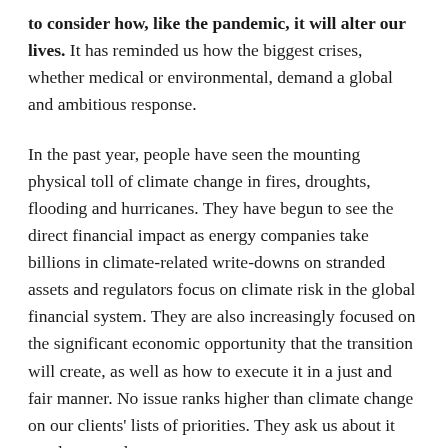to consider how, like the pandemic, it will alter our lives. It has reminded us how the biggest crises, whether medical or environmental, demand a global and ambitious response.
In the past year, people have seen the mounting physical toll of climate change in fires, droughts, flooding and hurricanes. They have begun to see the direct financial impact as energy companies take billions in climate-related write-downs on stranded assets and regulators focus on climate risk in the global financial system. They are also increasingly focused on the significant economic opportunity that the transition will create, as well as how to execute it in a just and fair manner. No issue ranks higher than climate change on our clients' lists of priorities. They ask us about it nearly every day.